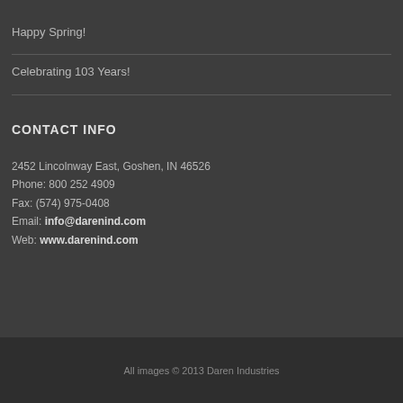Happy Spring!
Celebrating 103 Years!
CONTACT INFO
2452 Lincolnway East, Goshen, IN 46526
Phone: 800 252 4909
Fax: (574) 975-0408
Email: info@darenind.com
Web: www.darenind.com
All images © 2013 Daren Industries